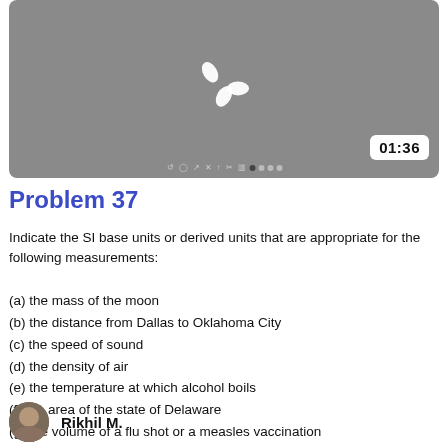[Figure (screenshot): Video thumbnail with gray background, a Screencast-O-Matic logo spinner icon in the center, a time badge showing 01:36 in the bottom right, and video control icons along the bottom.]
Problem 37
Indicate the SI base units or derived units that are appropriate for the following measurements:
(a) the mass of the moon
(b) the distance from Dallas to Oklahoma City
(c) the speed of sound
(d) the density of air
(e) the temperature at which alcohol boils
(f) the area of the state of Delaware
(g) the volume of a flu shot or a measles vaccination
Rikhil M.